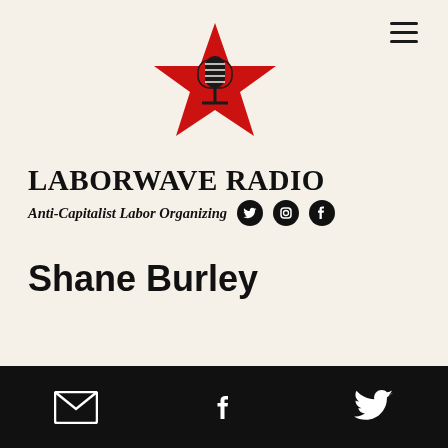[Figure (logo): Laborwave Radio logo: red star with a vintage microphone silhouette in the center]
LABORWAVE RADIO
Anti-Capitalist Labor Organizing
Shane Burley
[Figure (infographic): Black footer bar with white email envelope, Facebook f, and Twitter bird icons]